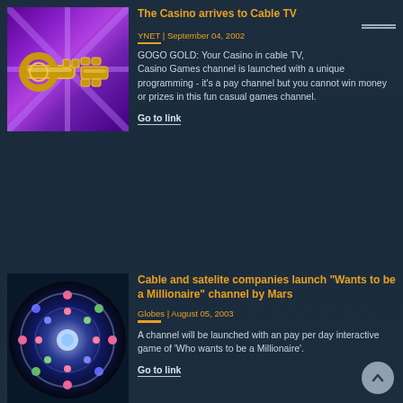[Figure (photo): Purple background with gold trophy/key shaped game controller logo on it]
The Casino arrives to Cable TV
YNET | September 04, 2002
GOGO GOLD: Your Casino in cable TV, Casino Games channel is launched with a unique programming - it's a pay channel but you cannot win money or prizes in this fun casual games channel.
Go to link
[Figure (photo): Blue circular geometric roulette wheel pattern on dark blue background]
Cable and satelite companies launch "Wants to be a Millionaire" channel by Mars
Globes | August 05, 2003
A channel will be launched with an pay per day interactive game of 'Who wants to be a Millionaire'.
Go to link